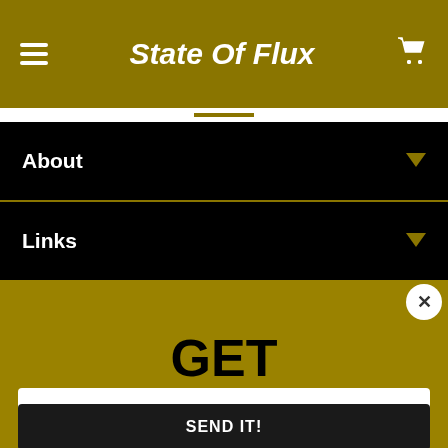State Of Flux
About
Links
GET
10% OFF!
Enter your email address
SEND IT!